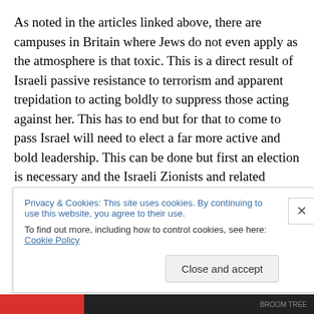As noted in the articles linked above, there are campuses in Britain where Jews do not even apply as the atmosphere is that toxic. This is a direct result of Israeli passive resistance to terrorism and apparent trepidation to acting boldly to suppress those acting against her. This has to end but for that to come to pass Israel will need to elect a far more active and bold leadership. This can be done but first an election is necessary and the Israeli Zionists and related activists will need find and promote someone to lead one of the existing parties and then
Privacy & Cookies: This site uses cookies. By continuing to use this website, you agree to their use.
To find out more, including how to control cookies, see here: Cookie Policy
Close and accept